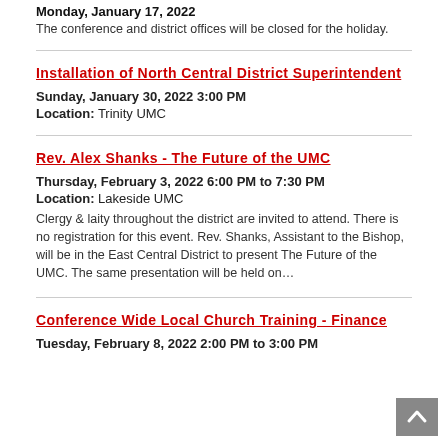Monday, January 17, 2022
The conference and district offices will be closed for the holiday.
Installation of North Central District Superintendent
Sunday, January 30, 2022 3:00 PM
Location: Trinity UMC
Rev. Alex Shanks - The Future of the UMC
Thursday, February 3, 2022 6:00 PM to 7:30 PM
Location: Lakeside UMC
Clergy & laity throughout the district are invited to attend. There is no registration for this event. Rev. Shanks, Assistant to the Bishop, will be in the East Central District to present The Future of the UMC. The same presentation will be held on…
Conference Wide Local Church Training - Finance
Tuesday, February 8, 2022 2:00 PM to 3:00 PM